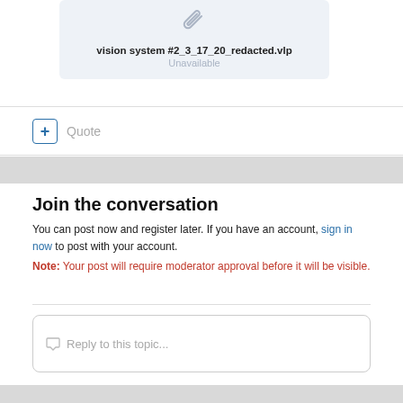[Figure (screenshot): Attachment card with paperclip icon, filename 'vision system #2_3_17_20_redacted.vlp', and status 'Unavailable']
vision system #2_3_17_20_redacted.vlp
Unavailable
+ Quote
Join the conversation
You can post now and register later. If you have an account, sign in now to post with your account.
Note: Your post will require moderator approval before it will be visible.
Reply to this topic...